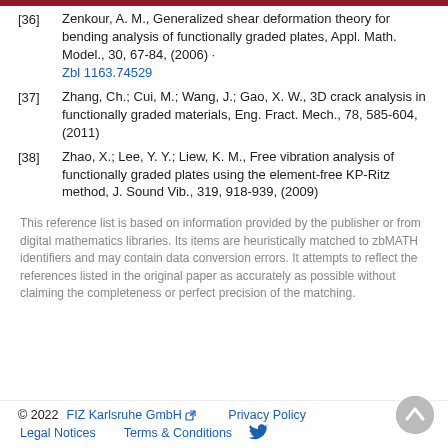[36] Zenkour, A. M., Generalized shear deformation theory for bending analysis of functionally graded plates, Appl. Math. Model., 30, 67-84, (2006) · Zbl 1163.74529
[37] Zhang, Ch.; Cui, M.; Wang, J.; Gao, X. W., 3D crack analysis in functionally graded materials, Eng. Fract. Mech., 78, 585-604, (2011)
[38] Zhao, X.; Lee, Y. Y.; Liew, K. M., Free vibration analysis of functionally graded plates using the element-free KP-Ritz method, J. Sound Vib., 319, 918-939, (2009)
This reference list is based on information provided by the publisher or from digital mathematics libraries. Its items are heuristically matched to zbMATH identifiers and may contain data conversion errors. It attempts to reflect the references listed in the original paper as accurately as possible without claiming the completeness or perfect precision of the matching.
© 2022   FIZ Karlsruhe GmbH   Privacy Policy   Legal Notices   Terms & Conditions